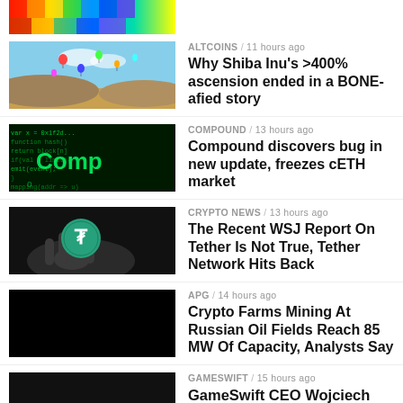[Figure (photo): Colorful top image partially visible]
[Figure (photo): Hot air balloons in sky - Shiba Inu article thumbnail]
ALTCOINS / 11 hours ago
Why Shiba Inu's >400% ascension ended in a BONE-afied story
[Figure (photo): Compound green matrix-style code thumbnail]
COMPOUND / 13 hours ago
Compound discovers bug in new update, freezes cETH market
[Figure (photo): Hand holding Tether coin thumbnail]
CRYPTO NEWS / 13 hours ago
The Recent WSJ Report On Tether Is Not True, Tether Network Hits Back
[Figure (photo): Black image - APG article thumbnail]
APG / 14 hours ago
Crypto Farms Mining At Russian Oil Fields Reach 85 MW Of Capacity, Analysts Say
[Figure (photo): Black image - GameSwift article thumbnail]
GAMESWIFT / 15 hours ago
GameSwift CEO Wojciech Gruszka Explains